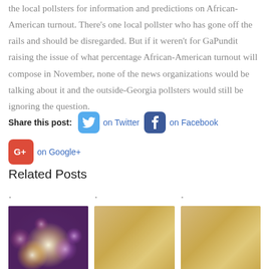the local pollsters for information and predictions on African-American turnout. There's one local pollster who has gone off the rails and should be disregarded. But if it weren't for GaPundit raising the issue of what percentage African-American turnout will compose in November, none of the news organizations would be talking about it and the outside-Georgia pollsters would still be ignoring the question.
Share this post: on Twitter on Facebook on Google+
Related Posts
[Figure (photo): Bokeh photo with purple and pink blurred lights]
[Figure (photo): Gold/tan colored placeholder image]
[Figure (photo): Gold/tan colored placeholder image]